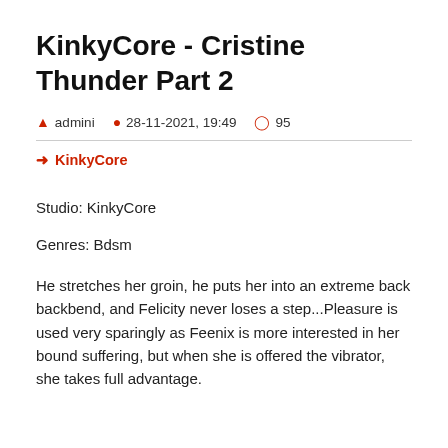KinkyCore - Cristine Thunder Part 2
admini  28-11-2021, 19:49  95
KinkyCore
Studio: KinkyCore
Genres: Bdsm
He stretches her groin, he puts her into an extreme back backbend, and Felicity never loses a step...Pleasure is used very sparingly as Feenix is more interested in her bound suffering, but when she is offered the vibrator, she takes full advantage.